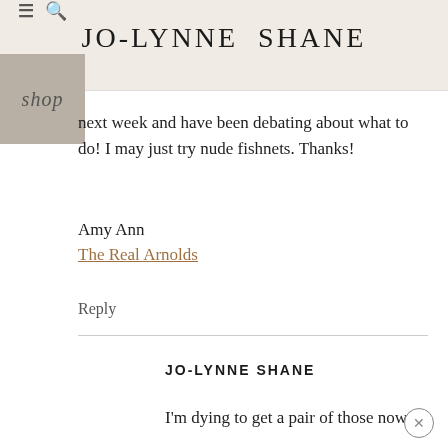JO-LYNNE SHANE
next week and have been debating about what to do! I may just try nude fishnets. Thanks!
Amy Ann
The Real Arnolds
Reply
JO-LYNNE SHANE
I'm dying to get a pair of those now!
Reply